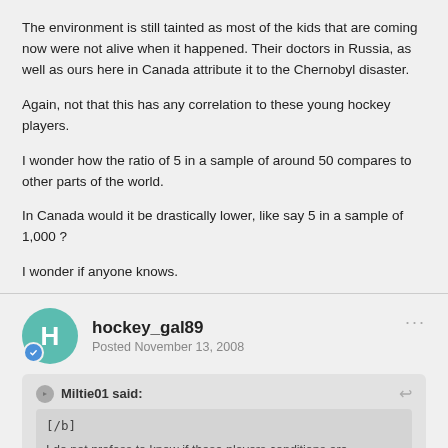The environment is still tainted as most of the kids that are coming now were not alive when it happened. Their doctors in Russia, as well as ours here in Canada attribute it to the Chernobyl disaster.
Again, not that this has any correlation to these young hockey players.
I wonder how the ratio of 5 in a sample of around 50 compares to other parts of the world.
In Canada would it be drastically lower, like say 5 in a sample of 1,000 ?
I wonder if anyone knows.
hockey_gal89
Posted November 13, 2008
Miltie01 said:
[/b]
I do not profess to know if these players conditions are